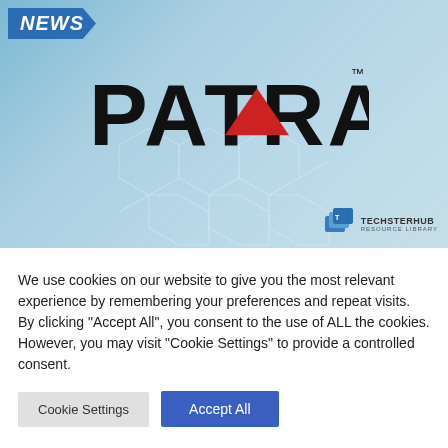[Figure (logo): Patra company logo on blue gradient background with hexagonal network pattern, NEWS badge in top-left, TechsterHub resource library badge in bottom-right]
We use cookies on our website to give you the most relevant experience by remembering your preferences and repeat visits. By clicking "Accept All", you consent to the use of ALL the cookies. However, you may visit "Cookie Settings" to provide a controlled consent.
Cookie Settings | Accept All